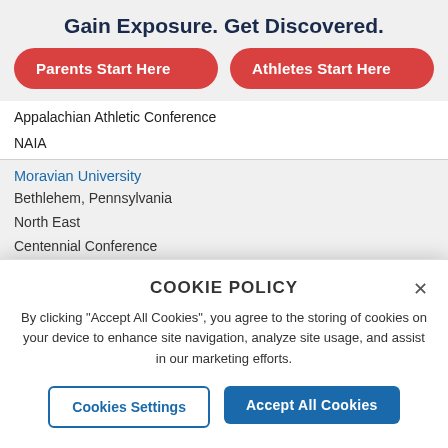Gain Exposure. Get Discovered.
Parents Start Here
Athletes Start Here
Appalachian Athletic Conference
NAIA
Moravian University
Bethlehem, Pennsylvania
North East
Centennial Conference
NCAA D3
Morningside University
COOKIE POLICY
By clicking "Accept All Cookies", you agree to the storing of cookies on your device to enhance site navigation, analyze site usage, and assist in our marketing efforts.
Cookies Settings
Accept All Cookies